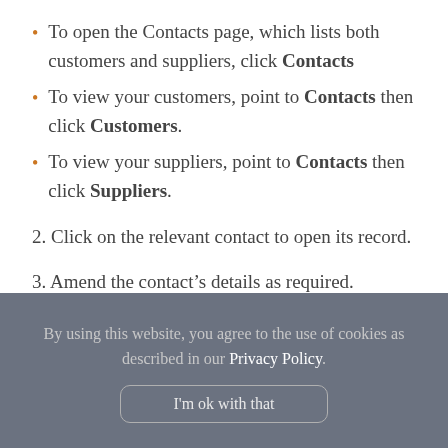To open the Contacts page, which lists both customers and suppliers, click Contacts
To view your customers, point to Contacts then click Customers.
To view your suppliers, point to Contacts then click Suppliers.
2. Click on the relevant contact to open its record.
3. Amend the contact’s details as required.
By using this website, you agree to the use of cookies as described in our Privacy Policy. I'm ok with that